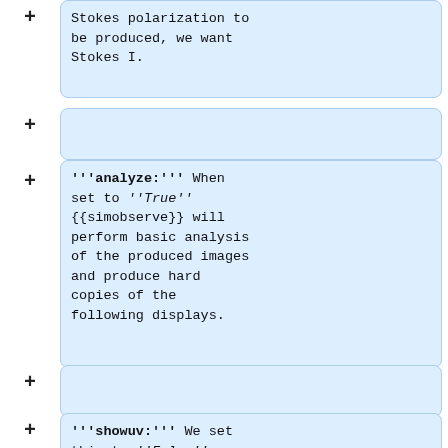Stokes polarization to be produced, we want Stokes I.
'''analyze:''' When set to ''True'' {{simobserve}} will perform basic analysis of the produced images and produce hard copies of the following displays.
'''showuv:''' We set this to ''False'' as we already show the uv-coverage in the {simobserve}} output (Fig. 3).